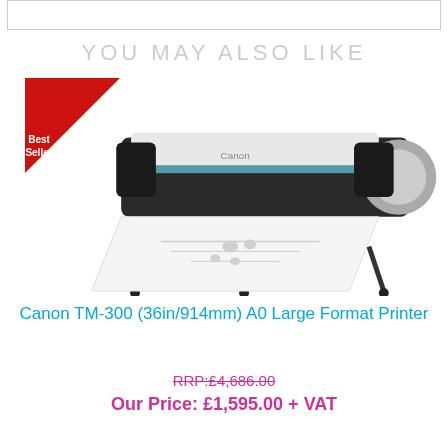YOU MAY ALSO LIKE
[Figure (photo): Canon TM-300 large format printer with a Best Seller badge in the top-left corner. The printer is shown with paper rolling out from the front, on a stand with wheels.]
Canon TM-300 (36in/914mm) A0 Large Format Printer
RRP:£4,686.00
Our Price: £1,595.00 + VAT